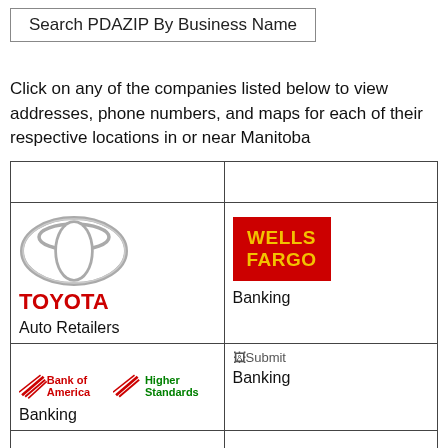Search PDAZIP By Business Name
Click on any of the companies listed below to view addresses, phone numbers, and maps for each of their respective locations in or near Manitoba
|  |  |
| --- | --- |
| [Toyota logo] TOYOTA
Auto Retailers | [Wells Fargo logo] Wells Fargo
Banking |
| [Bank of America logo] Bank of America Higher Standards
Banking | [Submit icon] Banking |